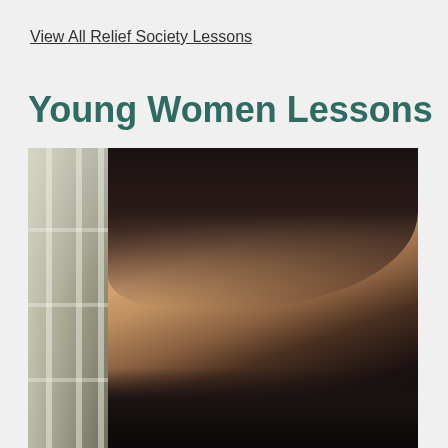View All Relief Society Lessons
Young Women Lessons
[Figure (photo): Close-up photo of a young woman with long dark hair looking downward, with window light visible in the background]